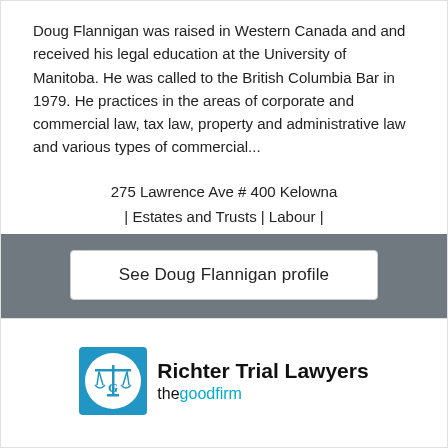Doug Flannigan was raised in Western Canada and and received his legal education at the University of Manitoba. He was called to the British Columbia Bar in 1979. He practices in the areas of corporate and commercial law, tax law, property and administrative law and various types of commercial...
275 Lawrence Ave # 400 Kelowna
| Estates and Trusts | Labour |
See Doug Flannigan profile
[Figure (logo): Richter Trial Lawyers logo with a circular icon featuring a scale of justice symbol, text 'Richter Trial Lawyers' in bold and 'thegoodfirm' below in cyan/teal color]